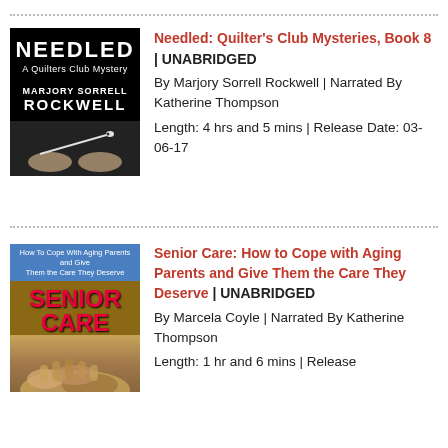[Figure (illustration): Book cover for 'Needled: A Quilters Club Mystery' by Marjory Sorrell Rockwell. Black background with large white title text and a needle graphic at bottom.]
Needled: Quilter's Club Mysteries, Book 8 | UNABRIDGED
By Marjory Sorrell Rockwell | Narrated By Katherine Thompson
Length: 4 hrs and 5 mins | Release Date: 03-06-17
[Figure (illustration): Book cover for 'Senior Care: How to Cope with Aging Parents and Give Them the Care They Deserve'. Blue header text, red bold SENIOR CARE title, hands photo below.]
Senior Care: How to Cope with Aging Parents and Give Them the Care They Deserve | UNABRIDGED
By Marcela Coyle | Narrated By Katherine Thompson
Length: 1 hr and 6 mins | Release